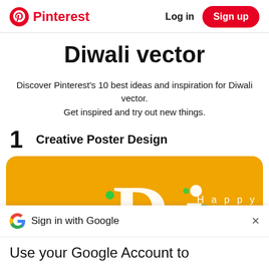Pinterest  Log in  Sign up
Diwali vector
Discover Pinterest's 10 best ideas and inspiration for Diwali vector. Get inspired and try out new things.
1  Creative Poster Design
[Figure (illustration): A Diwali creative poster design card with golden-yellow background, showing decorative letters 'Di' with the word 'Happy' above, colorful geometric shapes and dots in pink, teal, green and magenta.]
Sign in with Google
Use your Google Account to